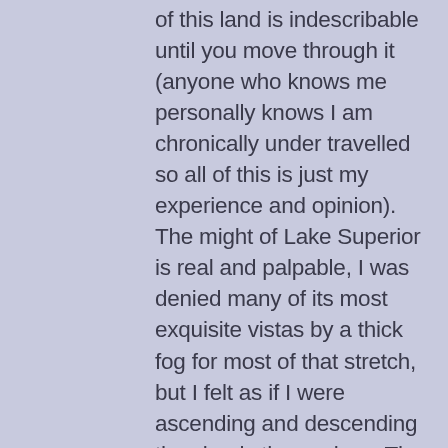of this land is indescribable until you move through it (anyone who knows me personally knows I am chronically under travelled so all of this is just my experience and opinion). The might of Lake Superior is real and palpable, I was denied many of its most exquisite vistas by a thick fog for most of that stretch, but I felt as if I were ascending and descending the clouds themselves. The Prairies are breathtaking in the duality of spareness and breadth, and Big Sky has a whole new meaning for me. And of course there are the mountains, rivers and valleys of Alberta and BC, a place that seems like it could be the last bastion of giants, dragons and life-force beyond our human understanding